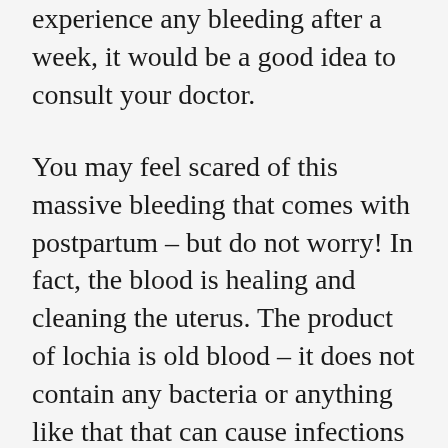experience any bleeding after a week, it would be a good idea to consult your doctor.
You may feel scared of this massive bleeding that comes with postpartum – but do not worry! In fact, the blood is healing and cleaning the uterus. The product of lochia is old blood – it does not contain any bacteria or anything like that that can cause infections in your body. You can wear a pad or panty liner or just some tissues or toilet paper to absorb the flow – it is normal and it will